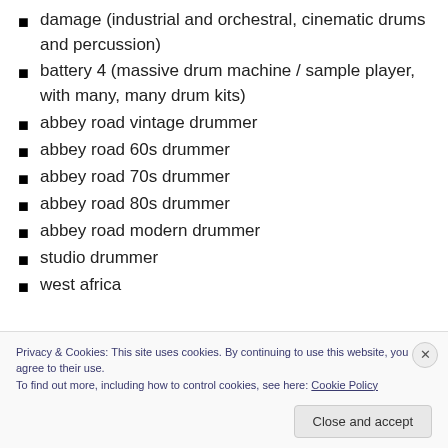damage (industrial and orchestral, cinematic drums and percussion)
battery 4 (massive drum machine / sample player, with many, many drum kits)
abbey road vintage drummer
abbey road 60s drummer
abbey road 70s drummer
abbey road 80s drummer
abbey road modern drummer
studio drummer
west africa
Privacy & Cookies: This site uses cookies. By continuing to use this website, you agree to their use.
To find out more, including how to control cookies, see here: Cookie Policy